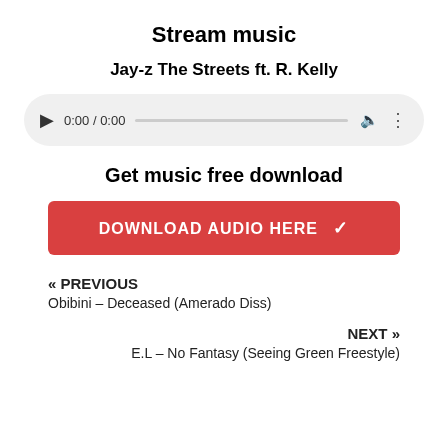Stream music
Jay-z The Streets ft. R. Kelly
[Figure (other): Audio player widget showing 0:00 / 0:00 with play button, progress bar, volume icon, and more options icon on a light gray rounded rectangle background.]
Get music free download
DOWNLOAD AUDIO HERE ✓
« PREVIOUS
Obibini – Deceased (Amerado Diss)
NEXT »
E.L – No Fantasy (Seeing Green Freestyle)